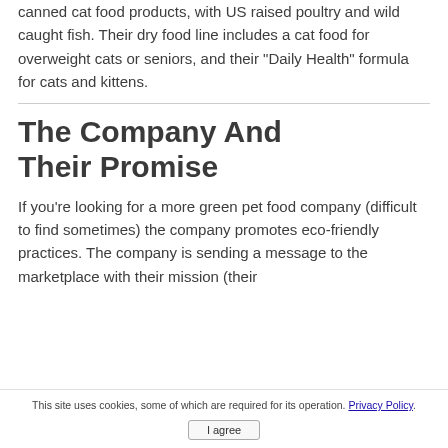canned cat food products, with US raised poultry and wild caught fish. Their dry food line includes a cat food for overweight cats or seniors, and their "Daily Health" formula for cats and kittens.
The Company And Their Promise
If you're looking for a more green pet food company (difficult to find sometimes) the company promotes eco-friendly practices. The company is sending a message to the marketplace with their mission (their
This site uses cookies, some of which are required for its operation. Privacy Policy. I agree